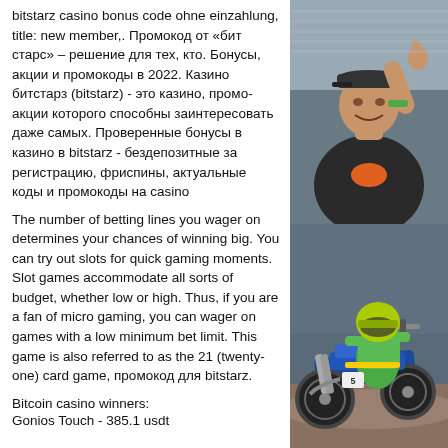bitstarz casino bonus code ohne einzahlung, title: new member,. Промокод от «бит старс» – решение для тех, кто. Бонусы, акции и промокоды в 2022. Казино битстарз (bitstarz) - это казино, промо-акции которого способны заинтересовать даже самых. Проверенные бонусы в казино в bitstarz - бездепозитные за регистрацию, фриспины, актуальные коды и промокоды на casino
The number of betting lines you wager on determines your chances of winning big. You can try out slots for quick gaming moments. Slot games accommodate all sorts of budget, whether low or high. Thus, if you are a fan of micro gaming, you can wager on games with a low minimum bet limit. This game is also referred to as the 21 (twenty-one) card game, промокод для bitstarz.
[Figure (photo): Man in black shirt and cap giving thumbs up at an outdoor event]
[Figure (photo): Motocross rider on blue dirt bike with green helmet at a racing event]
Bitcoin casino winners:
Gonios Touch - 385.1 usdt